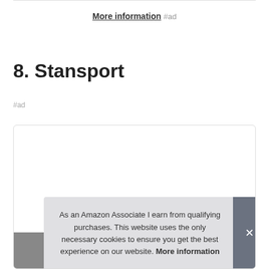More information #ad
8. Stansport
#ad
[Figure (screenshot): Product card with image area at bottom]
As an Amazon Associate I earn from qualifying purchases. This website uses the only necessary cookies to ensure you get the best experience on our website. More information